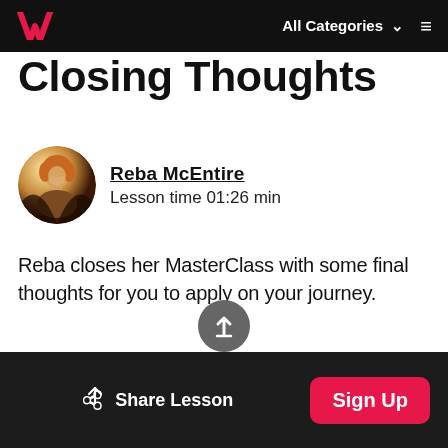All Categories  ☰
Closing Thoughts
Reba McEntire
Lesson time 01:26 min
Reba closes her MasterClass with some final thoughts for you to apply on your journey.
Share Lesson   Sign Up